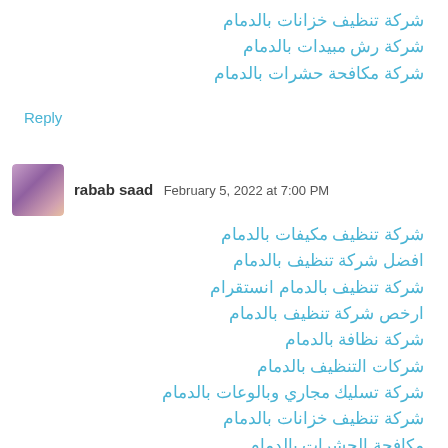شركة تنظيف خزانات بالدمام
شركة رش مبيدات بالدمام
شركة مكافحة حشرات بالدمام
Reply
rabab saad  February 5, 2022 at 7:00 PM
شركة تنظيف مكيفات بالدمام
افضل شركة تنظيف بالدمام
شركة تنظيف بالدمام انستقرام
ارخص شركة تنظيف بالدمام
شركة نظافة بالدمام
شركات التنظيف بالدمام
شركة تسليك مجاري وبالوعات بالدمام
شركة تنظيف خزانات بالدمام
مكافحة الحشرات بالدمام
شركة عزل بالدمام
Reply
arkan-elkhaleg  February 19, 2022 at 11:51 AM